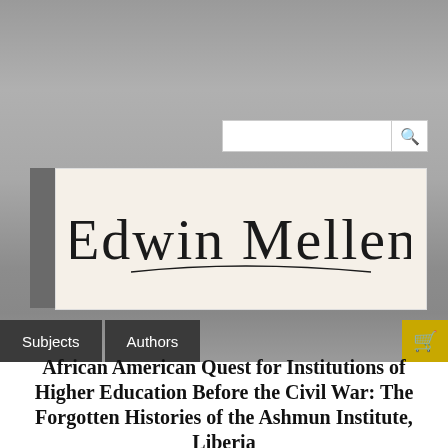[Figure (logo): Edwin Mellen Press cursive signature logo on cream background]
Subjects  Authors
African American Quest for Institutions of Higher Education Before the Civil War: The Forgotten Histories of the Ashmun Institute, Liberia